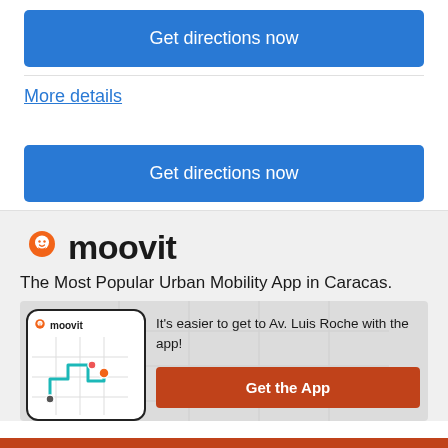[Figure (other): Blue 'Get directions now' button at the top]
More details
[Figure (other): Blue 'Get directions now' button, second instance]
[Figure (logo): Moovit logo with orange pin icon and bold 'moovit' text]
The Most Popular Urban Mobility App in Caracas.
[Figure (screenshot): Moovit app promo banner showing phone with map route and 'Get the App' orange button. Text: It's easier to get to Av. Luis Roche with the app!]